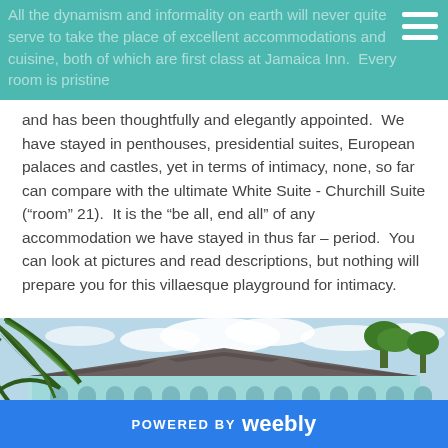All the dynamism and informality on earth will never quite serve to take the place of excellent accommodations and cuisine, both of which are first class at Jamaica Inn. Every room is pristine
and has been thoughtfully and elegantly appointed. We have stayed in penthouses, presidential suites, European palaces and castles, yet in terms of intimacy, none, so far can compare with the ultimate White Suite - Churchill Suite (“room” 21). It is the “be all, end all” of any accommodation we have stayed in thus far – period. You can look at pictures and read descriptions, but nothing will prepare you for this villaesque playground for intimacy.
[Figure (photo): Exterior photo of Jamaica Inn showing a light blue colonial building with arched verandah, a dark slate/shingle roof, palm tree fronds in foreground, and a partly cloudy sky.]
POWERED BY weebly